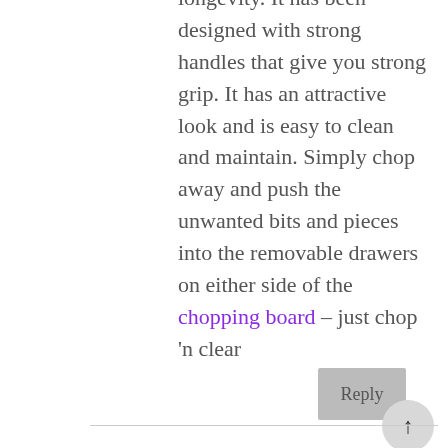longevity. It has been designed with strong handles that give you strong grip. It has an attractive look and is easy to clean and maintain. Simply chop away and push the unwanted bits and pieces into the removable drawers on either side of the chopping board – just chop 'n clear